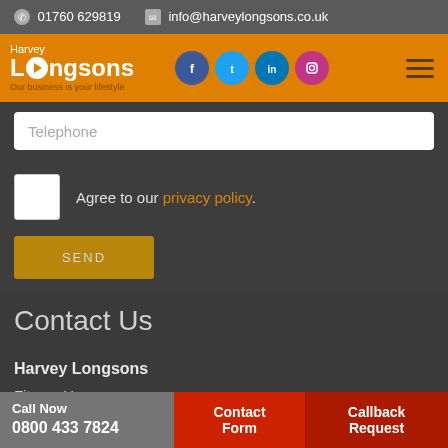01760 629819   info@harveylongsons.co.uk
[Figure (logo): Harvey Longsons logo with orange background, social media icons (Facebook, Twitter, LinkedIn, Instagram), and hamburger menu]
Telephone
Agree to our privacy policy.
SEND
Contact Us
Harvey Longsons
Fitzroy House
32 Market Place
Swaffham
Call Now 0800 433 7824   Contact Form   Callback Request